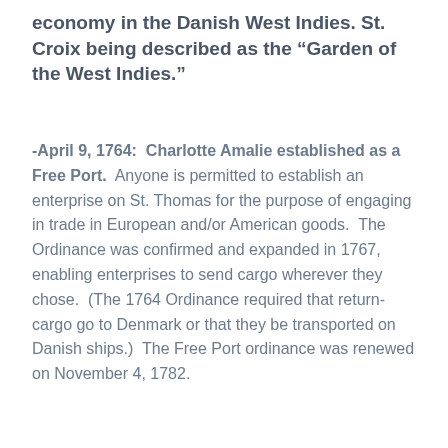economy in the Danish West Indies. St. Croix being described as the “Garden of the West Indies.”
-April 9, 1764:  Charlotte Amalie established as a Free Port.  Anyone is permitted to establish an enterprise on St. Thomas for the purpose of engaging in trade in European and/or American goods.  The Ordinance was confirmed and expanded in 1767, enabling enterprises to send cargo wherever they chose.  (The 1764 Ordinance required that return-cargo go to Denmark or that they be transported on Danish ships.)  The Free Port ordinance was renewed on November 4, 1782.